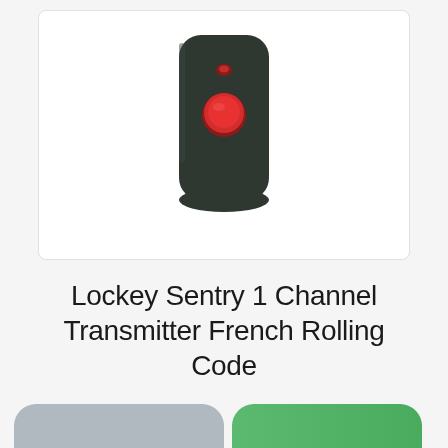[Figure (photo): A black key fob / remote transmitter with a small red LED indicator at the top and a large red circular button in the center, with a keyring slot at the bottom. The device is shown against a white background inside a rounded rectangle card.]
Lockey Sentry 1 Channel Transmitter French Rolling Code